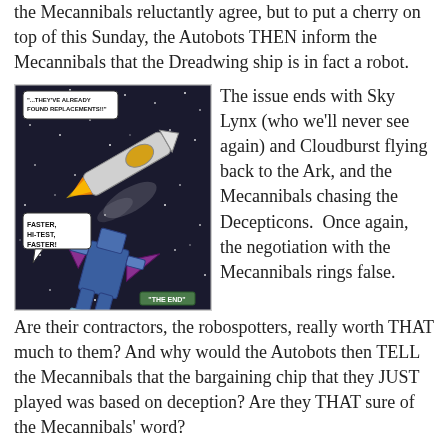the Mecannibals reluctantly agree, but to put a cherry on top of this Sunday, the Autobots THEN inform the Mecannibals that the Dreadwing ship is in fact a robot.
[Figure (illustration): Comic panel showing a spacecraft/robot flying through space with stars. A speech bubble reads 'FASTER, HI-TEST, FASTER!' and another says '...THEY'VE ALREADY FOUND REPLACEMENTS!!' A small caption box reads 'THE END'.]
The issue ends with Sky Lynx (who we'll never see again) and Cloudburst flying back to the Ark, and the Mecannibals chasing the Decepticons.  Once again, the negotiation with the Mecannibals rings false. Are their contractors, the robospotters, really worth THAT much to them? And why would the Autobots then TELL the Mecannibals that the bargaining chip that they JUST played was based on deception? Are they THAT sure of the Mecannibals' word?
Overall, it's an ok issue on its own, a bit weak in the context